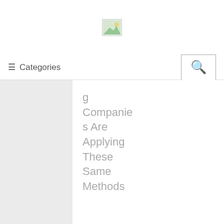[Figure (logo): Small landscape/image icon placeholder in the header]
≡ Categories
g Companies Are Applying These Same Methods
Pc software Growth Organization
No Comment to " How to Find a Silver Locket That Releases Thoughts Each Time it's Exposed